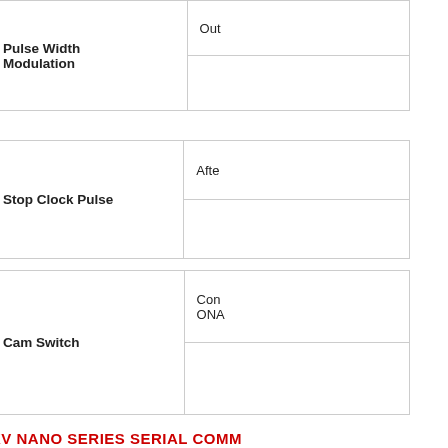| Feature | Description |
| --- | --- |
| Pulse Width Modulation | Out... |
| Feature | Description |
| --- | --- |
| Stop Clock Pulse | Afte... |
| Feature | Description |
| --- | --- |
| Cam Switch | Con... ONA... |
KV NANO SERIES SERIAL COMM...
| Feature | Description |
| --- | --- |
| KV Mode (Receiving and Sending of Text) | Sen... |
| Feature | Description |
| --- | --- |
| Non-protocol | In c... |
|  |